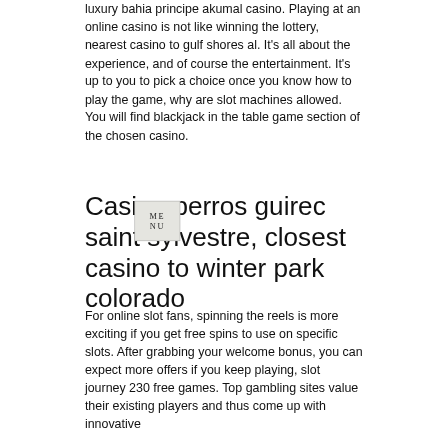luxury bahia principe akumal casino. Playing at an online casino is not like winning the lottery, nearest casino to gulf shores al. It's all about the experience, and of course the entertainment. It's up to you to pick a choice once you know how to play the game, why are slot machines allowed. You will find blackjack in the table game section of the chosen casino.
Casino perros guirec saint sylvestre, closest casino to winter park colorado
[Figure (other): A small square overlay showing the word MENU in spaced letters, styled like a button or navigation element, appearing over the section header text.]
For online slot fans, spinning the reels is more exciting if you get free spins to use on specific slots. After grabbing your welcome bonus, you can expect more offers if you keep playing, slot journey 230 free games. Top gambling sites value their existing players and thus come up with innovative